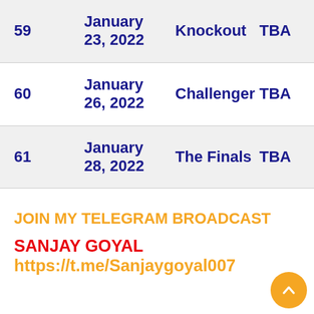| # | Date | Type | TBA | TBA |
| --- | --- | --- | --- | --- |
| 59 | January 23, 2022 | Knockout | TBA | TBA |
| 60 | January 26, 2022 | Challenger | TBA | TBA |
| 61 | January 28, 2022 | The Finals | TBA | TBA |
JOIN MY TELEGRAM BROADCAST
SANJAY GOYAL https://t.me/Sanjaygoyal007